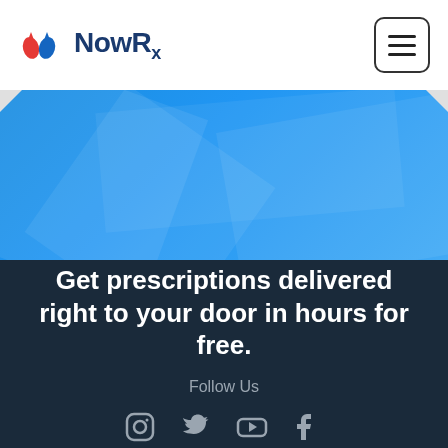[Figure (logo): NowRx logo with red and blue droplet icon and text 'NowRx']
[Figure (screenshot): Blue banner with diagonal geometric shapes]
Get prescriptions delivered right to your door in hours for free.
Follow Us
[Figure (illustration): Social media icons: Instagram, Twitter, YouTube, Facebook]